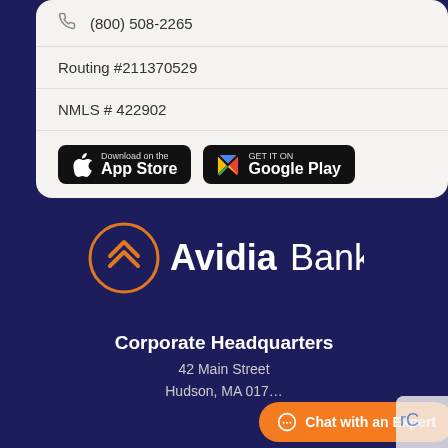(800) 508-2265
Routing #211370529
NMLS # 422902
[Figure (logo): App Store download badge — black rounded rectangle with Apple logo and 'Download on the App Store' text]
[Figure (logo): Google Play download badge — black rounded rectangle with colorful play triangle and 'GET IT ON Google Play' text]
[Figure (logo): Avidia Bank logo — orange circle with double chevron up arrow icon, followed by bold text 'Avidia' and lighter 'Bank']
Corporate Headquarters
42 Main Street
Hudson, MA 017...